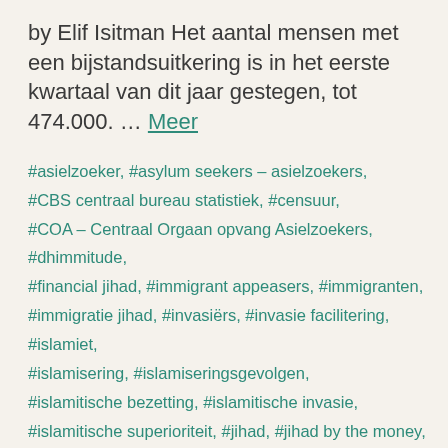by Elif Isitman Het aantal mensen met een bijstandsuitkering is in het eerste kwartaal van dit jaar gestegen, tot 474.000. … Meer
#asielzoeker, #asylum seekers – asielzoekers, #CBS centraal bureau statistiek, #censuur, #COA – Centraal Orgaan opvang Asielzoekers, #dhimmitude, #financial jihad, #immigrant appeasers, #immigranten, #immigratie jihad, #invasiërs, #invasie facilitering, #islamiet, #islamisering, #islamiseringsgevolgen, #islamitische bezetting, #islamitische invasie, #islamitische superioriteit, #jihad, #jihad by the money, #links wegkijken, #linkse naïviteit, #linkse onwetendheid islam, #linkse zelfmoord – suicide, #Linksmensch, #migrant influx, #migranten, #migrantenkosten, #migration jihad, #moslim immigratie, #sociale voorzieningen, #welfare jihad,